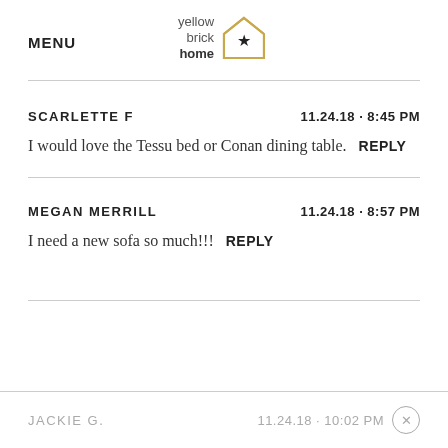MENU | yellow brick home logo
SCARLETTE F   11.24.18 - 8:45 PM
I would love the Tessu bed or Conan dining table.  REPLY
MEGAN MERRILL   11.24.18 - 8:57 PM
I need a new sofa so much!!!  REPLY
JACKIE G.   11.24.18 - 10:02 PM